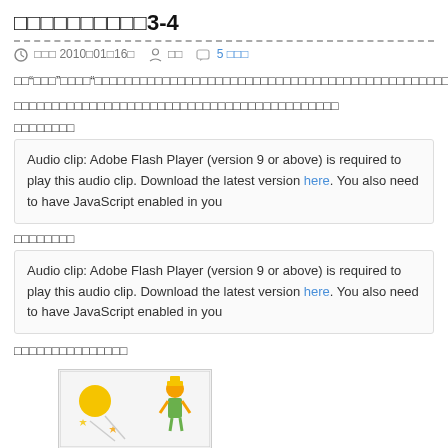日本語能力試験3-4
投稿日時 2010年01月16日  作者  5 コメント
前「聴解」練習「問題理解」：本試験の形式に基づく練習問題です。音声を聞いて問題に答えてください。
これらの練習問題は日本語能力試験3級と4級の聴解セクションの練習問題です。
練習問題1
Audio clip: Adobe Flash Player (version 9 or above) is required to play this audio clip. Download the latest version here. You also need to have JavaScript enabled in your browser.
練習問題2
Audio clip: Adobe Flash Player (version 9 or above) is required to play this audio clip. Download the latest version here. You also need to have JavaScript enabled in your browser.
以下の画像は問題の参照用です。
[Figure (illustration): Cartoon illustration of a child character with yellow/orange elements and a construction worker character]